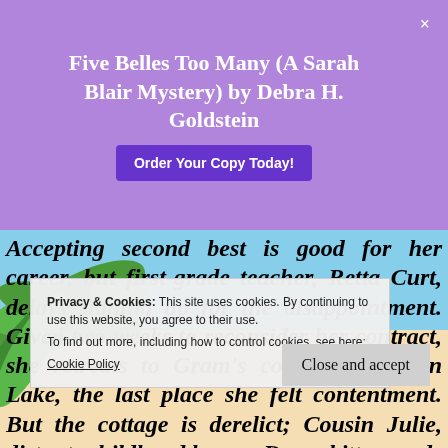Five Belles Too Many (A Sarah Blair Mystery) by Debra H. Goldstein
Order Your Copy Today!
Accepting second best is good for her career, but first-grade teacher, Retta Curt, delays signing up for the disappointment. Given two weeks to reconsider her contract, she retreats to Gram's cottage on Moon Lake, the last place she felt contentment. But the cottage is derelict; Cousin Julie, distant; childhood beaux, Dean, bitter; and s...n c...r; i...l r...e community she remembers. When vandals
Privacy & Cookies: This site uses cookies. By continuing to use this website, you agree to their use. To find out more, including how to control cookies, see here: Cookie Policy
Close and accept